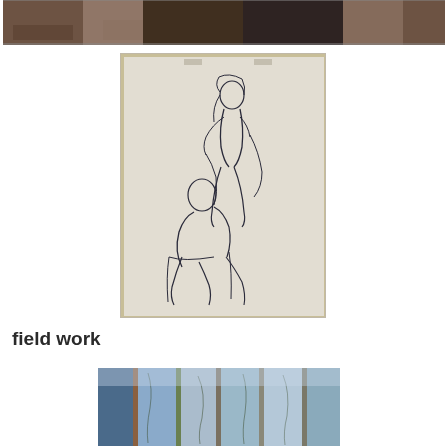[Figure (photo): Top photo showing a classroom interior with wooden desks/tables and a person's lower body visible on the right side]
[Figure (illustration): A pencil sketch on white paper showing two figures - one standing person (with long hair) and one seated person, drawn in a loose gestural style]
field work
[Figure (photo): Bottom photo strip showing what appears to be outdoor scenes with blue/grey tones, possibly field work documentation images]